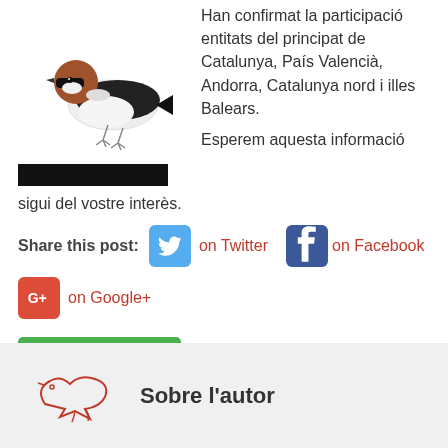[Figure (illustration): Illustration of a bird (woodchat shrike) perched, with reddish-brown head, black wings, white body]
[Figure (other): Black redacted bar]
Han confirmat la participació entitats del principat de Catalunya, País Valencià, Andorra, Catalunya nord i illes Balears.
Esperem aquesta informació sigui del vostre interès.
Share this post: on Twitter on Facebook on Google+
[Figure (logo): Print Friendly button with printer icon]
Sobre l'autor